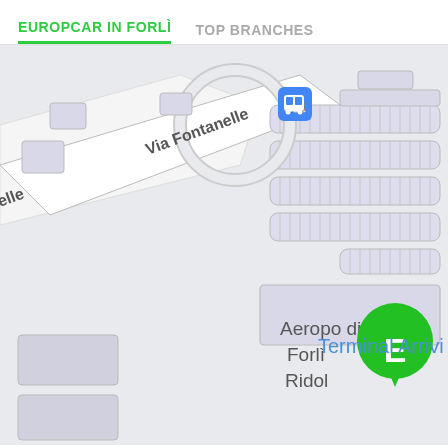EUROPCAR IN FORLÌ   TOP BRANCHES
[Figure (map): Map showing Europcar location at Aeroporto di Forlì Ridolfi airport area. Shows Via Fontanelle road, parking lots with hatched areas, Terminal Arrivi label, a bus stop icon, and a green Europcar 'E' map pin marker in the center-left area of the airport grounds.]